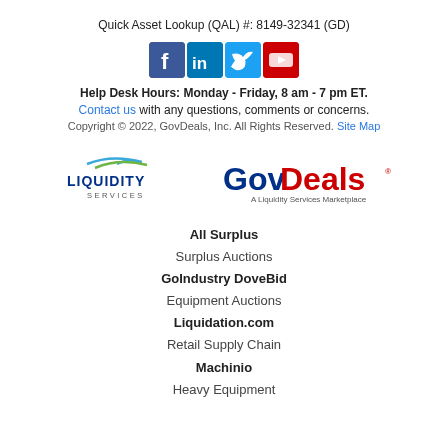Quick Asset Lookup (QAL) #: 8149-32341 (GD)
[Figure (illustration): Social media icons: Facebook, LinkedIn, Twitter, YouTube]
Help Desk Hours: Monday - Friday, 8 am - 7 pm ET.
Contact us with any questions, comments or concerns.
Copyright © 2022, GovDeals, Inc. All Rights Reserved. Site Map
[Figure (logo): Liquidity Services logo and GovDeals logo side by side]
All Surplus
Surplus Auctions
GoIndustry DoveBid
Equipment Auctions
Liquidation.com
Retail Supply Chain
Machinio
Heavy Equipment